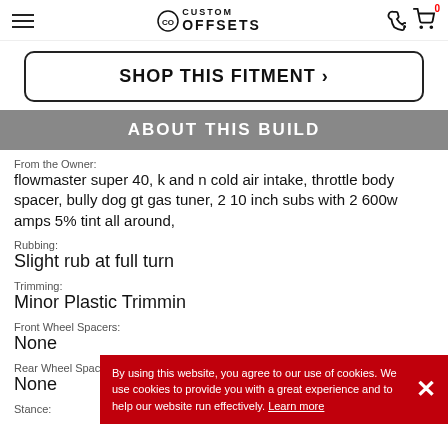Custom Offsets
SHOP THIS FITMENT >
ABOUT THIS BUILD
From the Owner:
flowmaster super 40, k and n cold air intake, throttle body spacer, bully dog gt gas tuner, 2 10 inch subs with 2 600w amps 5% tint all around,
Rubbing:
Slight rub at full turn
Trimming:
Minor Plastic Trimming
Front Wheel Spacers:
None
Rear Wheel Spacers:
None
Stance:
By using this website, you agree to our use of cookies. We use cookies to provide you with a great experience and to help our website run effectively. Learn more